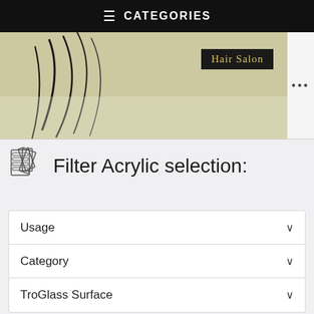CATEGORIES
[Figure (photo): Hair salon sign photo with decorative hair art on beige background]
Filter Acrylic selection:
Usage
Category
TroGlass Surface
Color Top Layer
[Figure (photo): Partial photo of acrylic material sample in blue-grey tones]